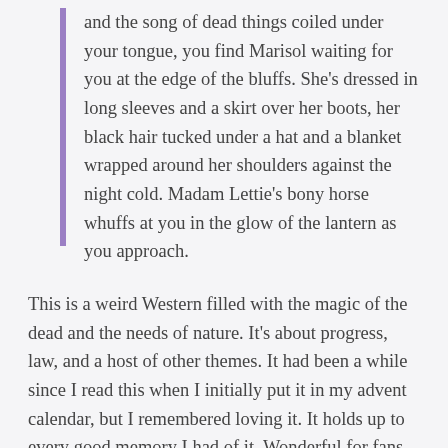and the song of dead things coiled under your tongue, you find Marisol waiting for you at the edge of the bluffs. She's dressed in long sleeves and a skirt over her boots, her black hair tucked under a hat and a blanket wrapped around her shoulders against the night cold. Madam Lettie's bony horse whuffs at you in the glow of the lantern as you approach.
This is a weird Western filled with the magic of the dead and the needs of nature. It's about progress, law, and a host of other themes. It had been a while since I read this when I initially put it in my advent calendar, but I remembered loving it. It holds up to every good memory I had of it. Wonderful for fans of the strange and surreal.